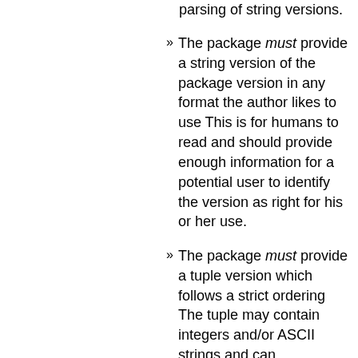parsing of string versions.
The package must provide a string version of the package version in any format the author likes to use This is for humans to read and should provide enough information for a potential user to identify the version as right for his or her use.
The package must provide a tuple version which follows a strict ordering The tuple may contain integers and/or ASCII strings and can